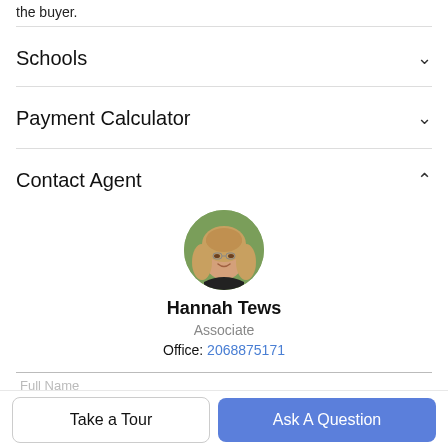the buyer.
Schools
Payment Calculator
Contact Agent
[Figure (photo): Circular profile photo of Hannah Tews, a woman with long light brown hair, smiling, outdoors with green background.]
Hannah Tews
Associate
Office: 2068875171
Full Name
Take a Tour
Ask A Question